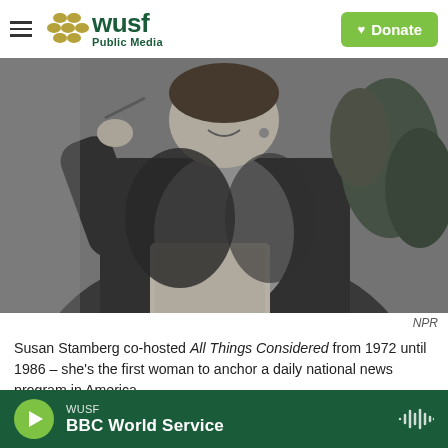WUSF Public Media — Donate
[Figure (photo): Black and white photo of Susan Stamberg smiling, holding a notepad, with plants in the background]
NPR
Susan Stamberg co-hosted All Things Considered from 1972 until 1986 – she's the first woman to anchor a daily national news program in America.
WUSF — BBC World Service